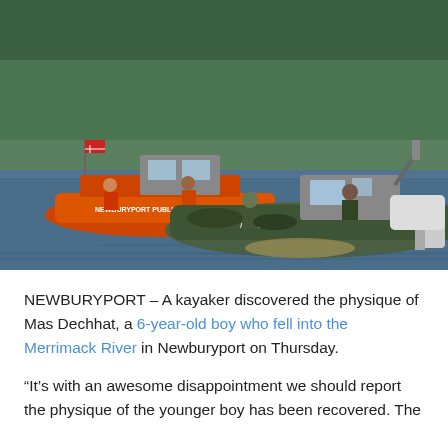[Figure (photo): Photo of rescue boats on a river. An orange Newburyport Public Safety boat and a green police inflatable boat are visible on the water with personnel aboard. Trees line the background.]
NEWBURYPORT – A kayaker discovered the physique of Mas Dechhat, a 6-year-old boy who fell into the Merrimack River in Newburyport on Thursday.
“It’s with an awesome disappointment we should report the physique of the younger boy has been recovered. The